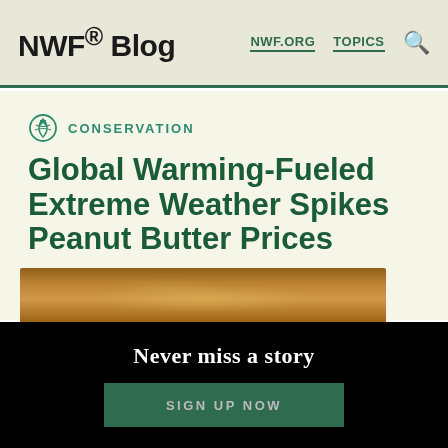NWF® Blog | NWF.ORG | TOPICS
CONSERVATION
Global Warming-Fueled Extreme Weather Spikes Peanut Butter Prices
MILES GRANT  |  LAST UPDATED: JANUARY 6, 2016
[Figure (photo): Close-up photo of peanut butter in a jar]
Never miss a story
SIGN UP NOW